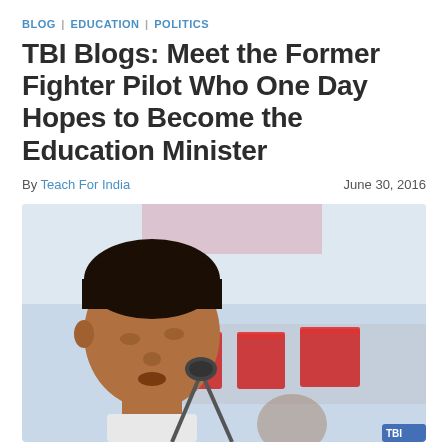BLOG | EDUCATION | POLITICS
TBI Blogs: Meet the Former Fighter Pilot Who One Day Hopes to Become the Education Minister
By Teach For India   June 30, 2016
[Figure (photo): A man speaking at a public event, leaning toward a microphone. Behind him is a banner with Hindi/Devanagari script in red lettering on a light background.]